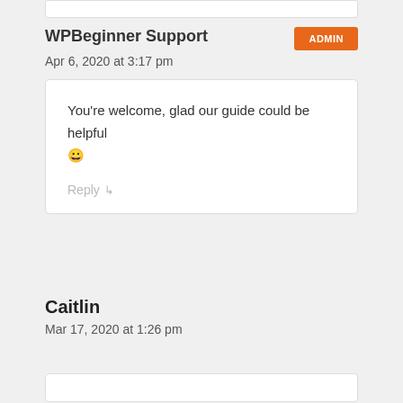WPBeginner Support
Apr 6, 2020 at 3:17 pm
You're welcome, glad our guide could be helpful 😀
Reply
Caitlin
Mar 17, 2020 at 1:26 pm